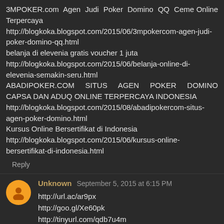3MPOKER.com Agen Judi Poker Domino QQ Ceme Online Terpercaya http://blogkoka.blogspot.com/2015/06/3mpokercom-agen-judi-poker-domino-qq.html belanja di elevenia gratis voucher 1 juta http://blogkoka.blogspot.com/2015/06/belanja-online-di-elevenia-semakin-seru.html ABADIPOKER.COM SITUS AGEN POKER DOMINO CAPSA DAN ADUQ ONLINE TERPERCAYA INDONESIA http://blogkoka.blogspot.com/2015/08/abadipokercom-situs-agen-poker-domino.html Kursus Online Bersertifikat di Indonesia http://blogkoka.blogspot.com/2015/06/kursus-online-bersertifikat-di-indonesia.html
Reply
Unknown September 5, 2015 at 6:15 PM
http://url.ac/ar9px
http://goo.gl/Xe60pk
http://tinyurl.com/qdb7u4m
http://ow.ly/RqKGm